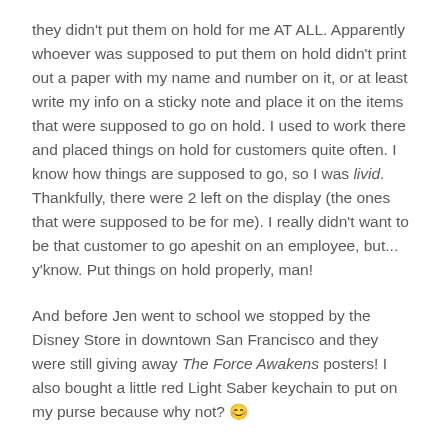they didn't put them on hold for me AT ALL. Apparently whoever was supposed to put them on hold didn't print out a paper with my name and number on it, or at least write my info on a sticky note and place it on the items that were supposed to go on hold. I used to work there and placed things on hold for customers quite often. I know how things are supposed to go, so I was livid. Thankfully, there were 2 left on the display (the ones that were supposed to be for me). I really didn't want to be that customer to go apeshit on an employee, but... y'know. Put things on hold properly, man!
And before Jen went to school we stopped by the Disney Store in downtown San Francisco and they were still giving away The Force Awakens posters! I also bought a little red Light Saber keychain to put on my purse because why not? 😊